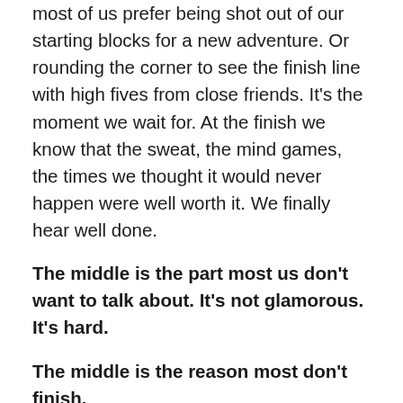most of us prefer being shot out of our starting blocks for a new adventure. Or rounding the corner to see the finish line with high fives from close friends. It's the moment we wait for. At the finish we know that the sweat, the mind games, the times we thought it would never happen were well worth it. We finally hear well done.
The middle is the part most us don't want to talk about. It's not glamorous. It's hard.
The middle is the reason most don't finish.
But the middle is the secret to the joy that seems to elude us.
This is where love is born. . . right in the middle.
Because of our faith, Christ has brought us into this place of undeserved privilege where we now stand, and we